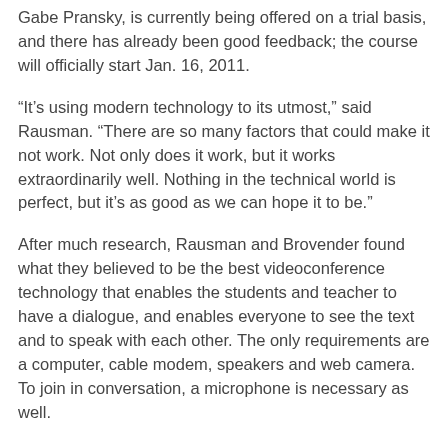Gabe Pransky, is currently being offered on a trial basis, and there has already been good feedback; the course will officially start Jan. 16, 2011.
“It’s using modern technology to its utmost,” said Rausman. “There are so many factors that could make it not work. Not only does it work, but it works extraordinarily well. Nothing in the technical world is perfect, but it’s as good as we can hope it to be.”
After much research, Rausman and Brovender found what they believed to be the best videoconference technology that enables the students and teacher to have a dialogue, and enables everyone to see the text and to speak with each other. The only requirements are a computer, cable modem, speakers and web camera. To join in conversation, a microphone is necessary as well.